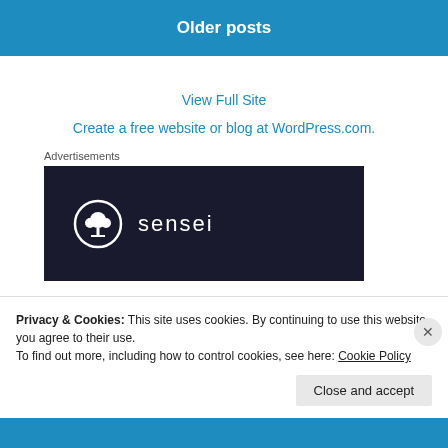Older posts
View Full Site
Create a free website or blog at WordPress.com.
Advertisements
[Figure (logo): Sensei logo: dark navy background with white circle containing a bonsai tree icon, followed by the word 'sensei' in white lowercase letters]
Privacy & Cookies: This site uses cookies. By continuing to use this website, you agree to their use.
To find out more, including how to control cookies, see here: Cookie Policy
Close and accept